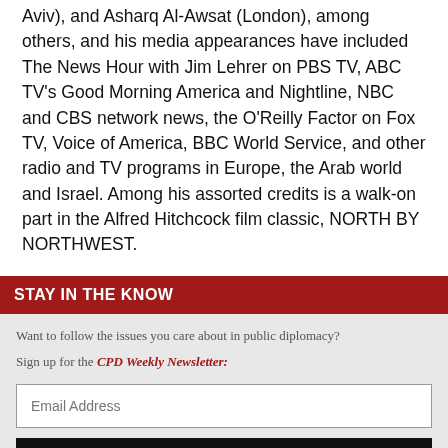Aviv), and Asharq Al-Awsat (London), among others, and his media appearances have included The News Hour with Jim Lehrer on PBS TV, ABC TV's Good Morning America and Nightline, NBC and CBS network news, the O'Reilly Factor on Fox TV, Voice of America, BBC World Service, and other radio and TV programs in Europe, the Arab world and Israel. Among his assorted credits is a walk-on part in the Alfred Hitchcock film classic, NORTH BY NORTHWEST.
STAY IN THE KNOW
Want to follow the issues you care about in public diplomacy?
Sign up for the CPD Weekly Newsletter: